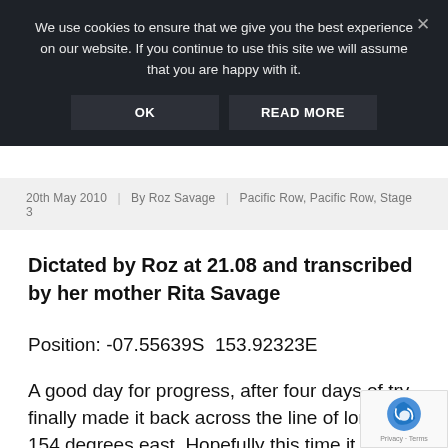We use cookies to ensure that we give you the best experience on our website. If you continue to use this site we will assume that you are happy with it.
OK | READ MORE
20th May 2010 | By Roz Savage | Pacific Row, Pacific Row, Stage 3
Dictated by Roz at 21.08 and transcribed by her mother Rita Savage
Position: -07.55639S  153.92323E
A good day for progress, after four days of try finally made it back across the line of longitud 154 degrees east. Hopefully this time it is for